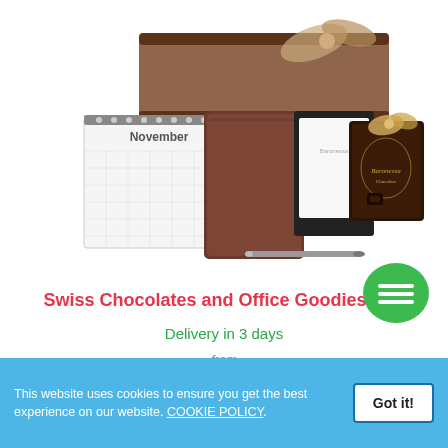[Figure (photo): Gift set product photo showing a wooden tray with ribbon bow, a November desk calendar, a brown leather journal/notebook, a white notebook with pen, and a dark chocolate box with gold bow (Baronessa brand)]
Swiss Chocolates and Office Goodies
Delivery in 3 days
from
USD 124.99
This website uses cookies to ensure you get the best experience on our website. COOKIE POLICY.
Got it!